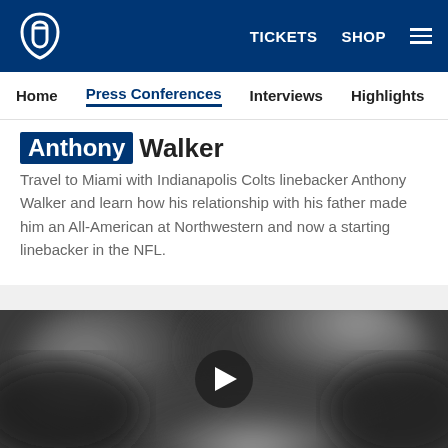Indianapolis Colts website header with logo, TICKETS, SHOP, and menu
Navigation: Home | Press Conferences | Interviews | Highlights | Mic'd | Direc
Anthony Walker
Travel to Miami with Indianapolis Colts linebacker Anthony Walker and learn how his relationship with his father made him an All-American at Northwestern and now a starting linebacker in the NFL.
[Figure (photo): Video thumbnail showing a dark, blurred black and white image with a play button overlay in the center]